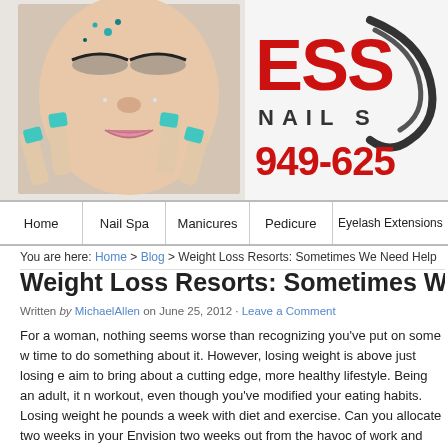[Figure (photo): Website header with photo of a woman with teal nails and decorative eye makeup/gems on left, and ESS nail spa brand name and phone number 949-625... on right]
ESS [logo] NAIL S[pa] 949-625[...]
Home
Nail Spa
Manicures
Pedicure
Eyelash Extensions
You are here: Home > Blog > Weight Loss Resorts: Sometimes We Need Help
Weight Loss Resorts: Sometimes We Need Help
Written by MichaelAllen on June 25, 2012 · Leave a Comment
For a woman, nothing seems worse than recognizing you've put on some w[eight and it's] time to do something about it. However, losing weight is above just losing e[xtra pounds;] aim to bring about a cutting edge, more healthy lifestyle. Being an adult, it m[eans you] workout, even though you've modified your eating habits. Losing weight he[althy means] pounds a week with diet and exercise. Can you allocate two weeks in your [schedule?] Envision two weeks out from the havoc of work and home. But, what will [happen...]